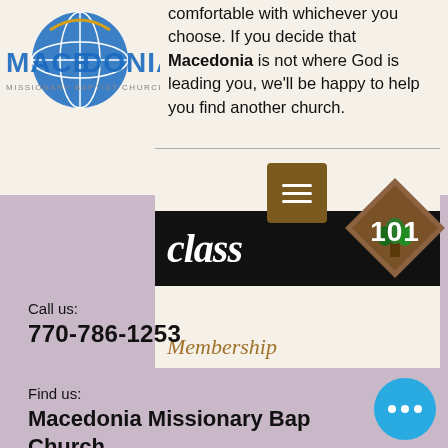[Figure (logo): Macedonia Missionary Baptist Church logo with globe and text]
comfortable with whichever you choose. If you decide that Macedonia is not where God is leading you, we'll be happy to help you find another church.
[Figure (illustration): Class 101 Membership graphic with black bar showing 'class' in italic white text and a brown diamond shape with '101' and a tree illustration]
Call us:
770-786-1253
Find us:
Macedonia Missionary Baptist Church